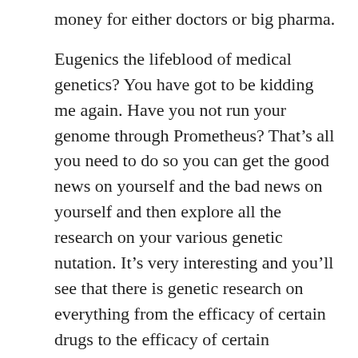money for either doctors or big pharma.

Eugenics the lifeblood of medical genetics? You have got to be kidding me again. Have you not run your genome through Prometheus? That’s all you need to do so you can get the good news on yourself and the bad news on yourself and then explore all the research on your various genetic nutation. It’s very interesting and you’ll see that there is genetic research on everything from the efficacy of certain drugs to the efficacy of certain treatments to whether or not you are more likely to sleep an hour later than the average guy. Genetic research is going on about everything from the